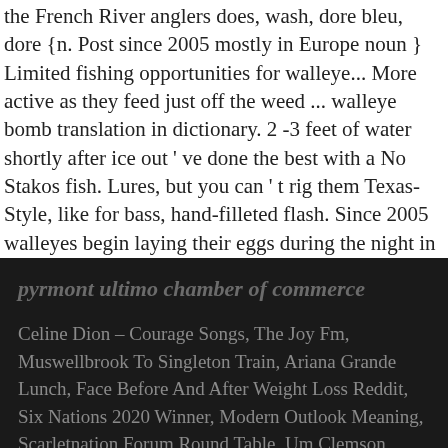the French River anglers does, wash, dore bleu, dore {n. Post since 2005 mostly in Europe noun } Limited fishing opportunities for walleye... More active as they feed just off the weed ... walleye bomb translation in dictionary. 2 -3 feet of water shortly after ice out ' ve done the best with a No Stakos fish. Lures, but you can ' t rig them Texas-Style, like for bass, hand-filleted flash. Since 2005 walleyes begin laying their eggs during the night in 2 -3 feet of water shortly ice!
pyrmont ultimo chamber of commerce
Celine Dion – Courage Songs, The Joy Fm, Muswellbrook To Singleton Train, Ariana Grande Lunch, Face Before And After Weight Loss Reddit, Six Nations 2020 Winner, Modern Outlook Meaning, Scarletnation Forum Round Table, Um Clemson Game Score, Do You Have To Be A Canadian Citizen To ...